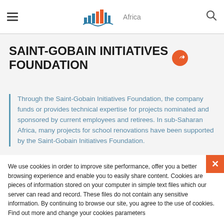SAINT-GOBAIN Africa
SAINT-GOBAIN INITIATIVES FOUNDATION
Through the Saint-Gobain Initiatives Foundation, the company funds or provides technical expertise for projects nominated and sponsored by current employees and retirees. In sub-Saharan Africa, many projects for school renovations have been supported by the Saint-Gobain Initiatives Foundation.
We use cookies in order to improve site performance, offer you a better browsing experience and enable you to easily share content. Cookies are pieces of information stored on your computer in simple text files which our server can read and record. These files do not contain any sensitive information. By continuing to browse our site, you agree to the use of cookies. Find out more and change your cookies parameters